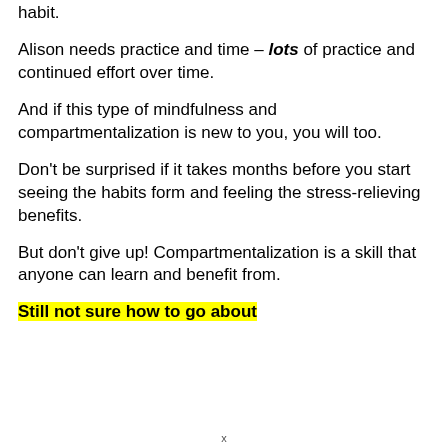habit.
Alison needs practice and time – lots of practice and continued effort over time.
And if this type of mindfulness and compartmentalization is new to you, you will too.
Don't be surprised if it takes months before you start seeing the habits form and feeling the stress-relieving benefits.
But don't give up! Compartmentalization is a skill that anyone can learn and benefit from.
Still not sure how to go about